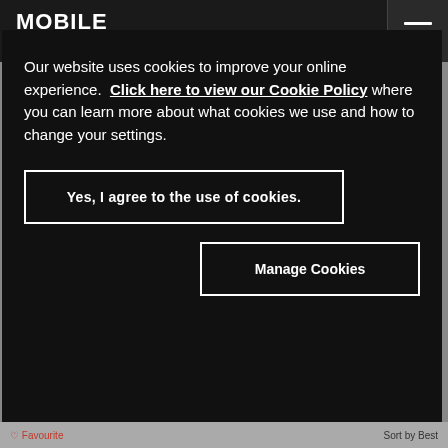[Figure (screenshot): Mobile World Live website header with logo and hamburger menu on dark background]
million connections per year until 2028.
SUBSCRIBE TO OUR DAILY NEWSLETTER
Our website uses cookies to improve your online experience. Click here to view our Cookie Policy where you can learn more about what cookies we use and how to change your settings.
Yes, I agree to the use of cookies.
Manage Cookies
Sort by Best